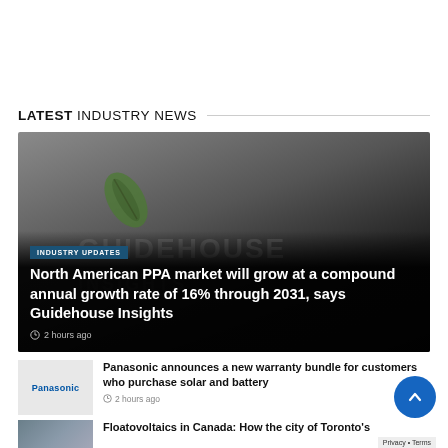LATEST INDUSTRY NEWS
[Figure (photo): Guidehouse Insights logo/branding image used as featured article background with dark overlay. Tagged 'INDUSTRY UPDATES'. Article title: North American PPA market will grow at a compound annual growth rate of 16% through 2031, says Guidehouse Insights. Published 2 hours ago.]
North American PPA market will grow at a compound annual growth rate of 16% through 2031, says Guidehouse Insights
2 hours ago
[Figure (logo): Panasonic logo thumbnail image]
Panasonic announces a new warranty bundle for customers who purchase solar and battery
2 hours ago
[Figure (photo): Solar panel installation thumbnail]
Floatovoltaics in Canada: How the city of Toronto's